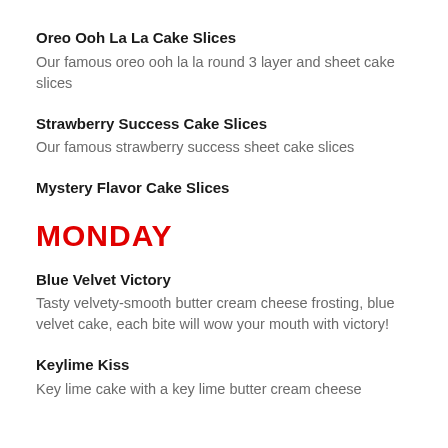Oreo Ooh La La Cake Slices
Our famous oreo ooh la la round 3 layer and sheet cake slices
Strawberry Success Cake Slices
Our famous strawberry success sheet cake slices
Mystery Flavor Cake Slices
MONDAY
Blue Velvet Victory
Tasty velvety-smooth butter cream cheese frosting, blue velvet cake, each bite will wow your mouth with victory!
Keylime Kiss
Key lime cake with a key lime butter cream cheese